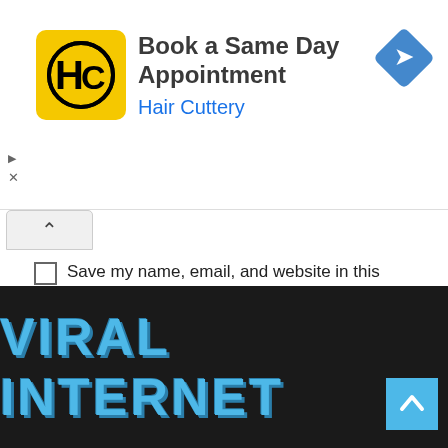[Figure (other): Hair Cuttery advertisement banner with yellow HC logo, 'Book a Same Day Appointment' text, 'Hair Cuttery' subtitle in blue, and a blue diamond navigation icon]
Save my name, email, and website in this browser for the next time I comment.
POST COMMENT
[Figure (logo): VIRAL INTERNET logo text in blue block letters on dark background]
[Figure (other): Back to top blue square button with upward caret arrow]